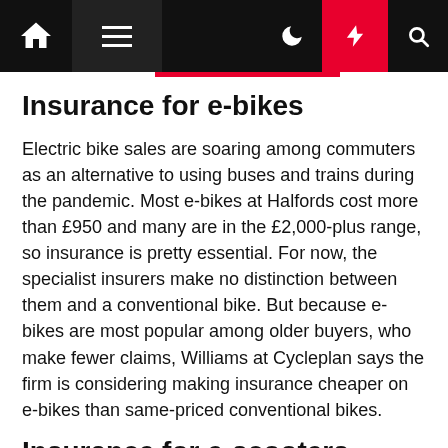Navigation bar with home, menu, dark mode, lightning/featured, and search icons
Insurance for e-bikes
Electric bike sales are soaring among commuters as an alternative to using buses and trains during the pandemic. Most e-bikes at Halfords cost more than £950 and many are in the £2,000-plus range, so insurance is pretty essential. For now, the specialist insurers make no distinction between them and a conventional bike. But because e-bikes are most popular among older buyers, who make fewer claims, Williams at Cycleplan says the firm is considering making insurance cheaper on e-bikes than same-priced conventional bikes.
Insurance for e-scooters
Until recently, e-scooters were only legal on private